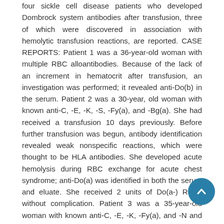four sickle cell disease patients who developed Dombrock system antibodies after transfusion, three of which were discovered in association with hemolytic transfusion reactions, are reported. CASE REPORTS: Patient 1 was a 36-year-old woman with multiple RBC alloantibodies. Because of the lack of an increment in hematocrit after transfusion, an investigation was performed; it revealed anti-Do(b) in the serum. Patient 2 was a 30-year, old woman with known anti-C, -E, -K, -S, -Fy(a), and -Bg(a). She had received a transfusion 10 days previously. Before further transfusion was begun, antibody identification revealed weak nonspecific reactions, which were thought to be HLA antibodies. She developed acute hemolysis during RBC exchange for acute chest syndrome; anti-Do(a) was identified in both the serum and eluate. She received 2 units of Do(a-) RBCs without complication. Patient 3 was a 35-year-old woman with known anti-C, -E, -K, -Fy(a), and -N and a warm autoantibody. Two weeks after transfusion, she had a delayed hemolytic transfusion reaction coincident with the identification of anti-Do(a). Patient 4 was a 33-year-old woman with known anti- -K, -Fy(a), - Fy3, Jk(b), -S, -N, and -Yt(b), who developed Do(a) 8 weeks after transfusion. CONCLUSION: An association of Dombrock blood group system antibodies with hemolytic
[Figure (other): Circular scroll-to-top button, teal/blue colored with an upward chevron arrow icon]